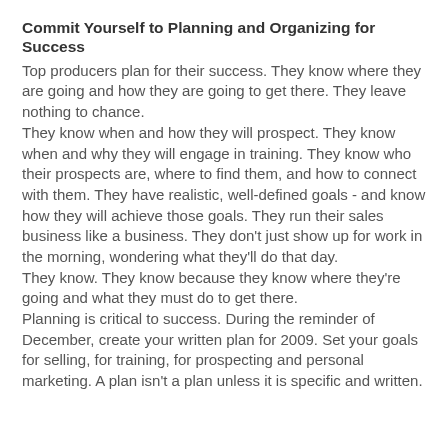Commit Yourself to Planning and Organizing for Success
Top producers plan for their success. They know where they are going and how they are going to get there. They leave nothing to chance.
They know when and how they will prospect. They know when and why they will engage in training. They know who their prospects are, where to find them, and how to connect with them. They have realistic, well-defined goals - and know how they will achieve those goals. They run their sales business like a business. They don't just show up for work in the morning, wondering what they'll do that day.
They know. They know because they know where they're going and what they must do to get there.
Planning is critical to success. During the reminder of December, create your written plan for 2009. Set your goals for selling, for training, for prospecting and personal marketing. A plan isn't a plan unless it is specific and written.